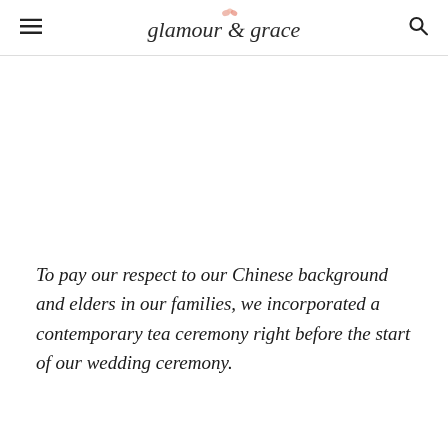glamour & grace
To pay our respect to our Chinese background and elders in our families, we incorporated a contemporary tea ceremony right before the start of our wedding ceremony.